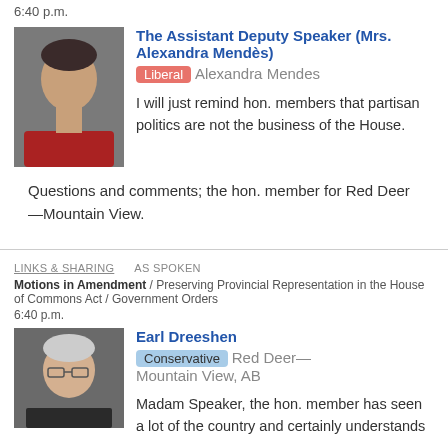6:40 p.m.
[Figure (photo): Photo of The Assistant Deputy Speaker Mrs. Alexandra Mendès]
The Assistant Deputy Speaker (Mrs. Alexandra Mendès) Liberal Alexandra Mendes
I will just remind hon. members that partisan politics are not the business of the House.
Questions and comments; the hon. member for Red Deer—Mountain View.
LINKS & SHARING   AS SPOKEN
Motions in Amendment / Preserving Provincial Representation in the House of Commons Act / Government Orders
6:40 p.m.
[Figure (photo): Photo of Earl Dreeshen]
Earl Dreeshen Conservative Red Deer—Mountain View, AB
Madam Speaker, the hon. member has seen a lot of the country and certainly understands